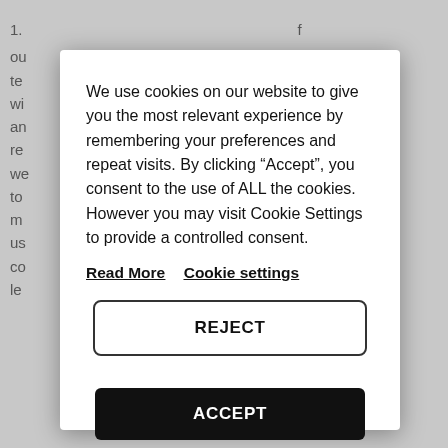1. ... f ou te wi s ar re we u to u m us co t le
We use cookies on our website to give you the most relevant experience by remembering your preferences and repeat visits. By clicking “Accept”, you consent to the use of ALL the cookies. However you may visit Cookie Settings to provide a controlled consent.
Read More   Cookie settings
REJECT
ACCEPT
2. from Docular (https://docular.net).